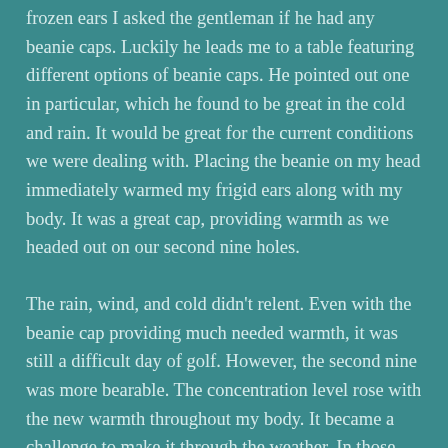frozen ears I asked the gentleman if he had any beanie caps. Luckily he leads me to a table featuring different options of beanie caps. He pointed out one in particular, which he found to be great in the cold and rain. It would be great for the current conditions we were dealing with. Placing the beanie on my head immediately warmed my frigid ears along with my body. It was a great cap, providing warmth as we headed out on our second nine holes.
The rain, wind, and cold didn't relent. Even with the beanie cap providing much needed warmth, it was still a difficult day of golf. However, the second nine was more bearable. The concentration level rose with the new warmth throughout my body. It became a challenge to make it through the weather. In those difficult conditions, I shortened the golf swing and concentrated more fully on making good contact with the ball. The shortening worked, as the ball didn't travel as far, but the